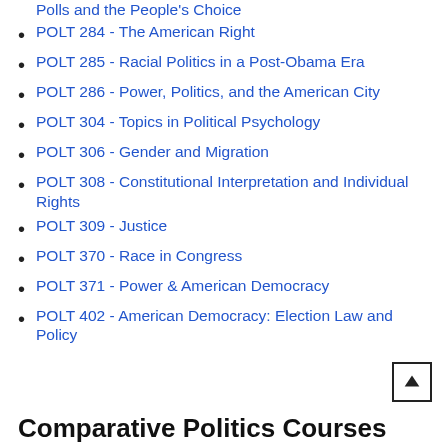Polls and the People's Choice
POLT 284 - The American Right
POLT 285 - Racial Politics in a Post-Obama Era
POLT 286 - Power, Politics, and the American City
POLT 304 - Topics in Political Psychology
POLT 306 - Gender and Migration
POLT 308 - Constitutional Interpretation and Individual Rights
POLT 309 - Justice
POLT 370 - Race in Congress
POLT 371 - Power & American Democracy
POLT 402 - American Democracy: Election Law and Policy
Comparative Politics Courses